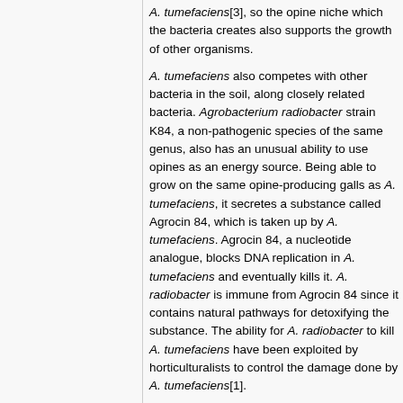A. tumefaciens[3], so the opine niche which the bacteria creates also supports the growth of other organisms.
A. tumefaciens also competes with other bacteria in the soil, along closely related bacteria. Agrobacterium radiobacter strain K84, a non-pathogenic species of the same genus, also has an unusual ability to use opines as an energy source. Being able to grow on the same opine-producing galls as A. tumefaciens, it secretes a substance called Agrocin 84, which is taken up by A. tumefaciens. Agrocin 84, a nucleotide analogue, blocks DNA replication in A. tumefaciens and eventually kills it. A. radiobacter is immune from Agrocin 84 since it contains natural pathways for detoxifying the substance. The ability for A. radiobacter to kill A. tumefaciens have been exploited by horticulturalists to control the damage done by A. tumefaciens[1].
Application to Biotechnology
Due to its ability to integrate DNA into its plant